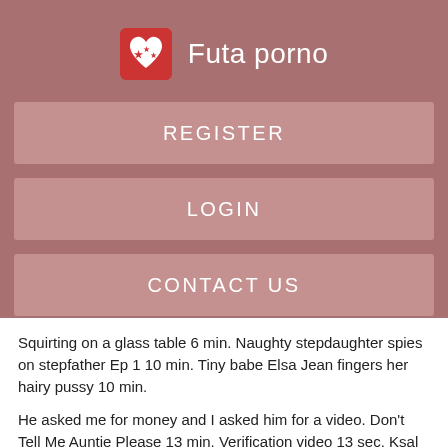Futa porno
REGISTER
LOGIN
CONTACT US
Squirting on a glass table 6 min. Naughty stepdaughter spies on stepfather Ep 1 10 min. Tiny babe Elsa Jean fingers her hairy pussy 10 min.
He asked me for money and I asked him for a video. Don't Tell Me Auntie Please 13 min. Verification video 13 sec. Ksal hot boot to fuck with friend Agatha Kent, and the naughty hot Danny sits firmly in the 40 cm cock 13 min. Lesbian girls play with pussy and lick 10 min. Big white brazilian ass full of whipped cream